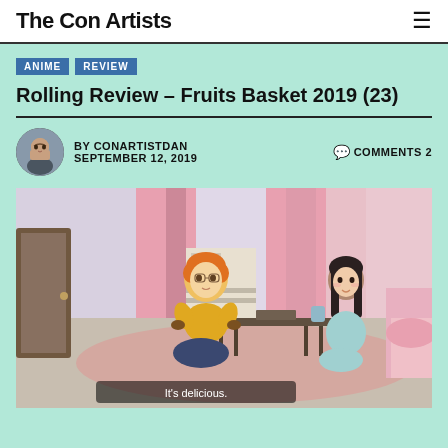The Con Artists
ANIME
REVIEW
Rolling Review – Fruits Basket 2019 (23)
BY CONARTISTDAN   COMMENTS 2
SEPTEMBER 12, 2019
[Figure (photo): Anime screenshot from Fruits Basket 2019 showing two characters sitting on a floor — a boy with orange hair in a yellow shirt and a girl with long dark hair in light blue pajamas — at a low table in a pink-curtained bedroom. Subtitle reads 'It's delicious.']